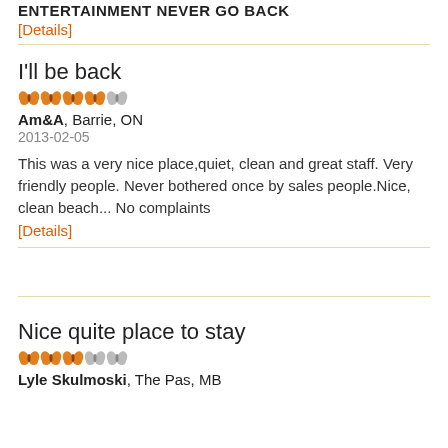ENTERTAINMENT NEVER GO BACK
[Details]
I'll be back
4 out of 5 butterflies rating
Am&A, Barrie, ON
2013-02-05
This was a very nice place,quiet, clean and great staff. Very friendly people. Never bothered once by sales people.Nice, clean beach... No complaints
[Details]
Nice quite place to stay
3 out of 5 butterflies rating
Lyle Skulmoski, The Pas, MB